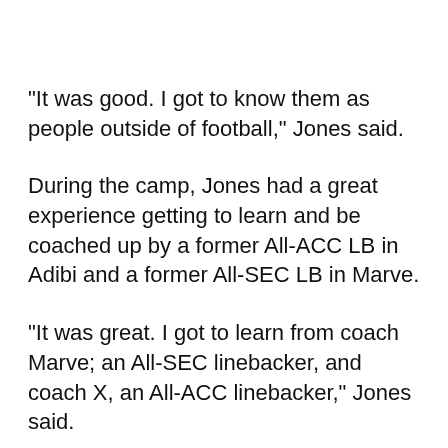"It was good. I got to know them as people outside of football," Jones said.
During the camp, Jones had a great experience getting to learn and be coached up by a former All-ACC LB in Adibi and a former All-SEC LB in Marve.
"It was great. I got to learn from coach Marve; an All-SEC linebacker, and coach X, an All-ACC linebacker," Jones said.
Jones added that the thing he learned the most about was "mainly how to cover receivers and backs in man coverage." Given how much linebackers are